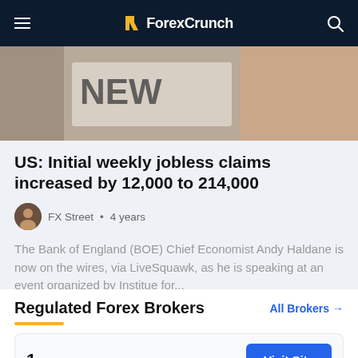ForexCrunch
[Figure (photo): Person reading a newspaper with 'NEWS' visible on the paper]
US: Initial weekly jobless claims increased by 12,000 to 214,000
FX Street • 4 years
The Bank of England (BOE) Chief Economist Andy Haldane is now on the wires, via LiveSquawk, as he is speaking at an event organized by Institue for...
Regulated Forex Brokers
All Brokers →
1
Visit Site